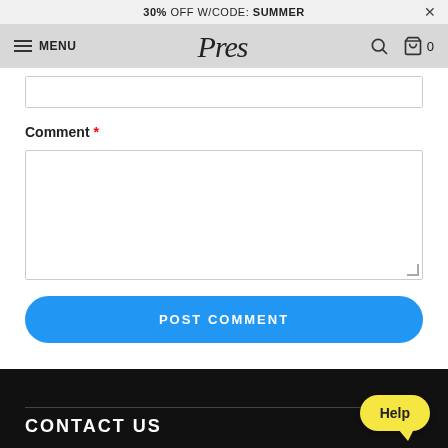30% OFF W/CODE: SUMMER
[Figure (screenshot): Navigation bar with hamburger menu, MENU label, Pres logo, search icon, and cart icon with 0 count]
Comment *
[Figure (screenshot): Text input field (partially visible at top of page)]
[Figure (screenshot): Comment textarea input field]
[Figure (screenshot): POST COMMENT button (blue, rounded)]
CONTACT US
[Figure (screenshot): Yellow Help button in bottom right corner]